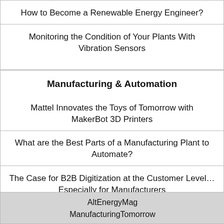How to Become a Renewable Energy Engineer?
Monitoring the Condition of Your Plants With Vibration Sensors
Manufacturing & Automation
Mattel Innovates the Toys of Tomorrow with MakerBot 3D Printers
What are the Best Parts of a Manufacturing Plant to Automate?
The Case for B2B Digitization at the Customer Level… Especially for Manufacturers
AltEnergyMag
ManufacturingTomorrow